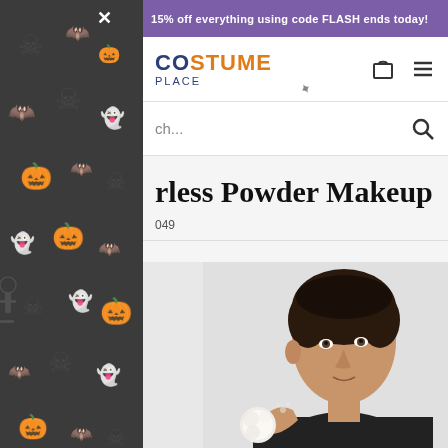[Figure (illustration): Dark sidebar panel with Halloween-themed pattern (skulls, bats, pumpkins) on dark background]
15% off everything using code FLASH ends today!
[Figure (logo): Costume Place logo with wand icon - COS in blue, TUME in orange, PLACE in blue below]
ch...
rless Powder Makeup
049
[Figure (photo): Man applying powder makeup to his face with a powder puff, wearing dark jacket, against light grey background]